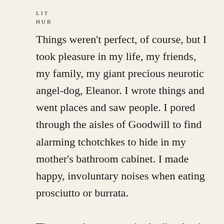LIT
HUB
Things weren't perfect, of course, but I took pleasure in my life, my friends, my family, my giant precious neurotic angel-dog, Eleanor. I wrote things and went places and saw people. I pored through the aisles of Goodwill to find alarming tchotchkes to hide in my mother's bathroom cabinet. I made happy, involuntary noises when eating prosciutto or burrata.

Then, one by one, my body dissolved, my mind dissolved, my relationships dissolved: the things that anchored